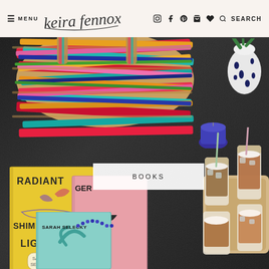≡ MENU  keira fennox  [instagram] [facebook] [pinterest] [bag] [heart] 🔍 SEARCH
[Figure (photo): Overhead flat-lay photo showing a large colorful woven/braided tote bag in reds, pinks, teals, oranges and yellows on a dark surface, with books including 'Radiant Shimmering Light' by Sarah Selecky and 'Ginger Bread' by Helen Oyeyemi, plus cups of iced coffee in a carrier tray and a candle. A white spotted vase with a plant is in the upper right.]
BOOKS